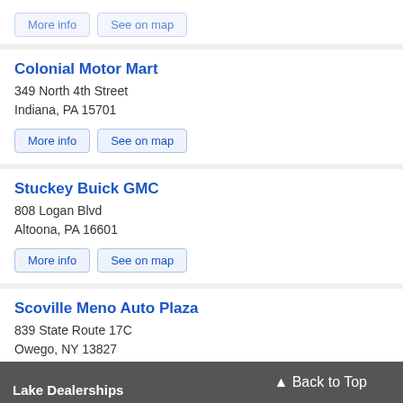Colonial Motor Mart
349 North 4th Street
Indiana, PA 15701
More info   See on map
Stuckey Buick GMC
808 Logan Blvd
Altoona, PA 16601
More info   See on map
Scoville Meno Auto Plaza
839 State Route 17C
Owego, NY 13827
More info   See on map
▲ Back to Top   Lake Dealerships